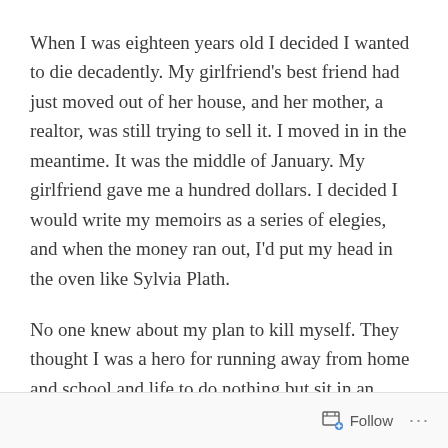When I was eighteen years old I decided I wanted to die decadently. My girlfriend's best friend had just moved out of her house, and her mother, a realtor, was still trying to sell it. I moved in in the meantime. It was the middle of January. My girlfriend gave me a hundred dollars. I decided I would write my memoirs as a series of elegies, and when the money ran out, I'd put my head in the oven like Sylvia Plath.
No one knew about my plan to kill myself. They thought I was a hero for running away from home and school and life to do nothing but sit in an empty house, write and smoke cigarettes. I thought I was a hero too, but for all sorts of different reasons.
Follow ···